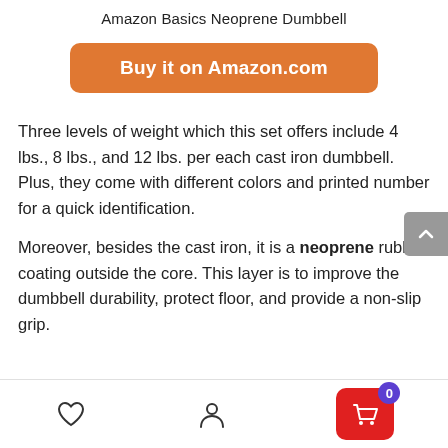Amazon Basics Neoprene Dumbbell
Buy it on Amazon.com
Three levels of weight which this set offers include 4 lbs., 8 lbs., and 12 lbs. per each cast iron dumbbell. Plus, they come with different colors and printed number for a quick identification.
Moreover, besides the cast iron, it is a neoprene rubber coating outside the core. This layer is to improve the dumbbell durability, protect floor, and provide a non-slip grip.
Bottom navigation bar with heart, user, and cart icons